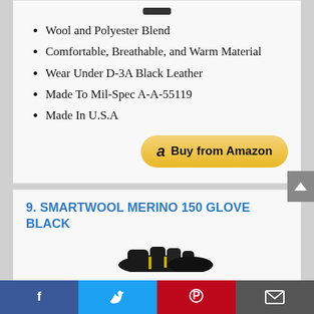Wool and Polyester Blend
Comfortable, Breathable, and Warm Material
Wear Under D-3A Black Leather
Made To Mil-Spec A-A-55119
Made In U.S.A
[Figure (other): Buy from Amazon button with Amazon logo]
9. SMARTWOOL MERINO 150 GLOVE BLACK
[Figure (photo): Partial image of Smartwool Merino 150 gloves in black]
[Figure (other): Social media share bar with Facebook, Twitter, Pinterest, and email icons]